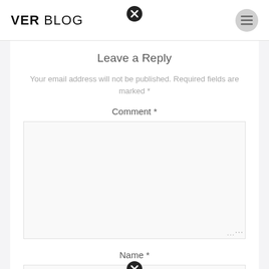VER BLOG
Leave a Reply
Your email address will not be published. Required fields are marked *
Comment *
Name *